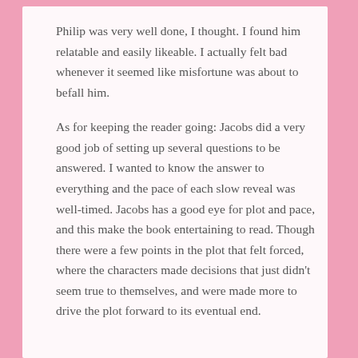Philip was very well done, I thought. I found him relatable and easily likeable. I actually felt bad whenever it seemed like misfortune was about to befall him.
As for keeping the reader going: Jacobs did a very good job of setting up several questions to be answered. I wanted to know the answer to everything and the pace of each slow reveal was well-timed. Jacobs has a good eye for plot and pace, and this make the book entertaining to read. Though there were a few points in the plot that felt forced, where the characters made decisions that just didn't seem true to themselves, and were made more to drive the plot forward to its eventual end.